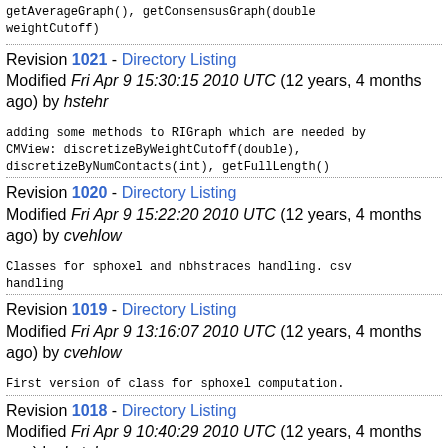getAverageGraph(), getConsensusGraph(double weightCutoff)
Revision 1021 - Directory Listing Modified Fri Apr 9 15:30:15 2010 UTC (12 years, 4 months ago) by hstehr
adding some methods to RIGraph which are needed by CMView: discretizeByWeightCutoff(double), discretizeByNumContacts(int), getFullLength()
Revision 1020 - Directory Listing Modified Fri Apr 9 15:22:20 2010 UTC (12 years, 4 months ago) by cvehlow
Classes for sphoxel and nbhstraces handling. csv handling
Revision 1019 - Directory Listing Modified Fri Apr 9 13:16:07 2010 UTC (12 years, 4 months ago) by cvehlow
First version of class for sphoxel computation.
Revision 1018 - Directory Listing Modified Fri Apr 9 10:40:29 2010 UTC (12 years, 4 months ago) by hstehr